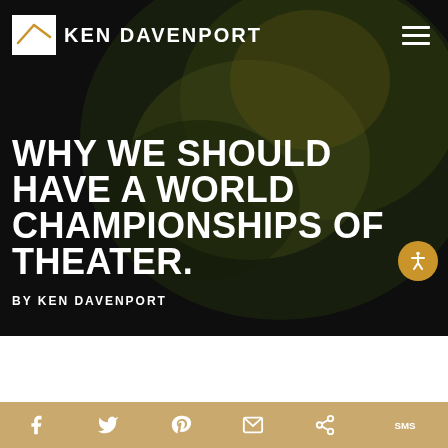KEN DAVENPORT
WHY WE SHOULD HAVE A WORLD CHAMPIONSHIPS OF THEATER.
BY KEN DAVENPORT
[Figure (other): Social share bar with icons: Facebook, Twitter, Pinterest, Email, Share, SMS]